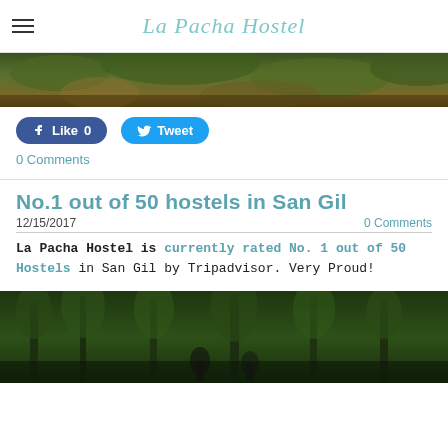La Pacha Hostel
[Figure (photo): Tropical foliage / jungle background photo strip at top of page]
Like 0   Tweet
0 Comments
No.1 out of 50 hostels in San Gil
12/15/2017    0 Comments
La Pacha Hostel is currently rated No. 1 out of 50 Hostels in San Gil by Tripadvisor. Very Proud!
[Figure (photo): People in a jungle/forest setting with trees in background]